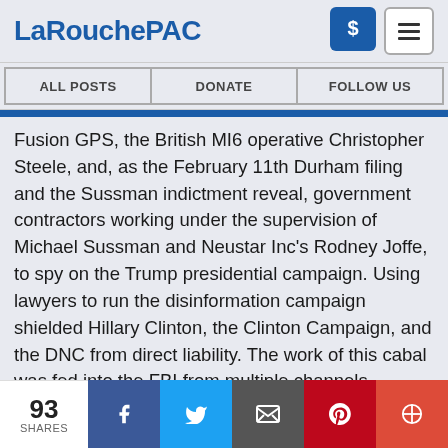LaRouchePAC
ALL POSTS
DONATE
FOLLOW US
Fusion GPS, the British MI6 operative Christopher Steele, and, as the February 11th Durham filing and the Sussman indictment reveal, government contractors working under the supervision of Michael Sussman and Neustar Inc's Rodney Joffe, to spy on the Trump presidential campaign. Using lawyers to run the disinformation campaign shielded Hillary Clinton, the Clinton Campaign, and the DNC from direct liability. The work of this cabal was fed into the FBI from multiple channels, including Victoria Nuland at the State Department, and launched the equally bogus FBI Crossfire Hurricane investigation of President Trump and his associates and the flailing two-year Robert Mueller
93 SHARES